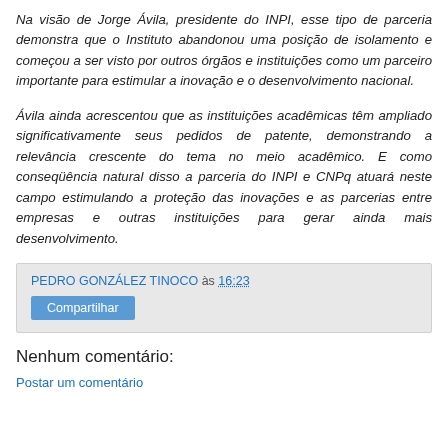Na visão de Jorge Ávila, presidente do INPI, esse tipo de parceria demonstra que o Instituto abandonou uma posição de isolamento e começou a ser visto por outros órgãos e instituições como um parceiro importante para estimular a inovação e o desenvolvimento nacional.
Ávila ainda acrescentou que as instituições acadêmicas têm ampliado significativamente seus pedidos de patente, demonstrando a relevância crescente do tema no meio acadêmico. E como conseqüência natural disso a parceria do INPI e CNPq atuará neste campo estimulando a proteção das inovações e as parcerias entre empresas e outras instituições para gerar ainda mais desenvolvimento.
PEDRO GONZÁLEZ TINOCO às 16:23 Compartilhar
Nenhum comentário:
Postar um comentário